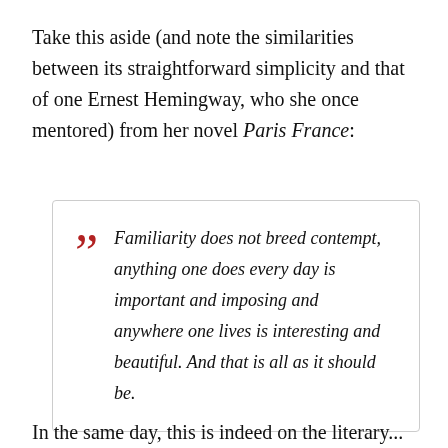Take this aside (and note the similarities between its straightforward simplicity and that of one Ernest Hemingway, who she once mentored) from her novel Paris France:
Familiarity does not breed contempt, anything one does every day is important and imposing and anywhere one lives is interesting and beautiful. And that is all as it should be.
In the same day, this is indeed on the literary...